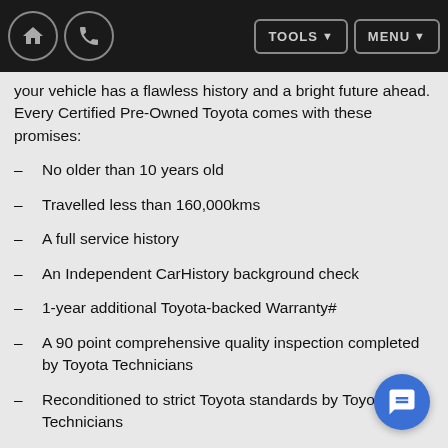Home | Phone | TOOLS | MENU
your vehicle has a flawless history and a bright future ahead. Every Certified Pre-Owned Toyota comes with these promises:
No older than 10 years old
Travelled less than 160,000kms
A full service history
An Independent CarHistory background check
1-year additional Toyota-backed Warranty#
A 90 point comprehensive quality inspection completed by Toyota Technicians
Reconditioned to strict Toyota standards by Toyota Technicians
Toyota finance and insurance options available
Guaranteed Future Value^ with a Toyota Access car loan